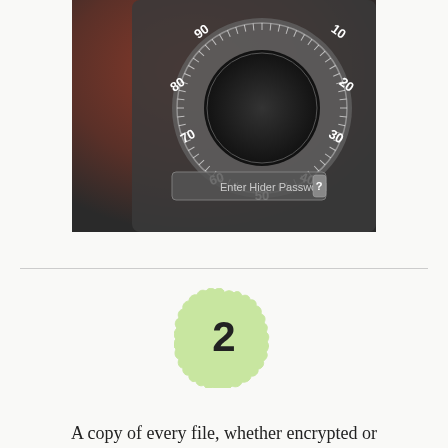[Figure (screenshot): Screenshot of a macOS application showing a combination lock dial (with numbers 10, 20, 30, 40, 50, 60, 70, 80, 90) and a text field labeled 'Enter Hider Password' with a question mark button, set against a dark semi-transparent background overlay on a macOS El Capitan desktop.]
[Figure (illustration): A scalloped-edge light green circle badge with the number 2 in large bold black text.]
A copy of every file, whether encrypted or